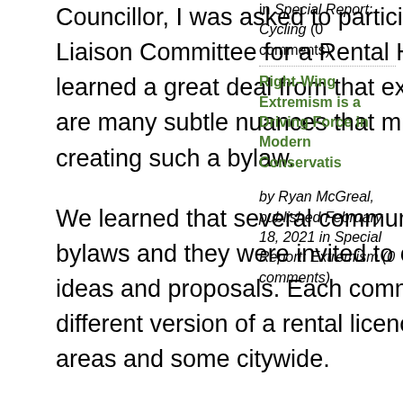Councillor, I was asked to participate as a member of the Liaison Committee for a Rental Housing Licence Bylaw. I learned a great deal from that experience, including that there are many subtle nuances that must be addressed when creating such a bylaw.
We learned that several communities were working on similar bylaws and they were invited to our Committee to share their ideas and proposals. Each community ended up with a slightly different version of a rental licence; some specific to certain areas and some citywide.
In 2008 the City of Oshawa enacted their
in Special Report: Cycling (0 comments)
Right-Wing Extremism is a Driving Force in Modern Conservatism by Ryan McGreal, published February 18, 2021 in Special Report: Extremism (0 comments)